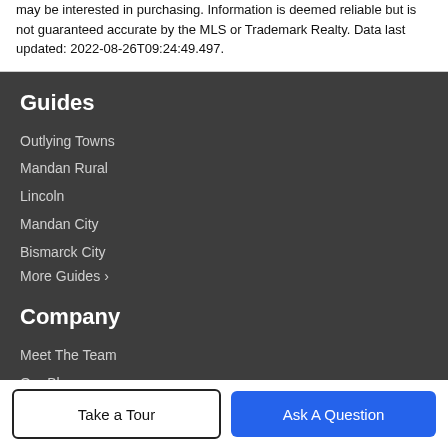may be interested in purchasing. Information is deemed reliable but is not guaranteed accurate by the MLS or Trademark Realty. Data last updated: 2022-08-26T09:24:49.497.
Guides
Outlying Towns
Mandan Rural
Lincoln
Mandan City
Bismarck City
More Guides ›
Company
Meet The Team
Our Blog
Take a Tour
Ask A Question